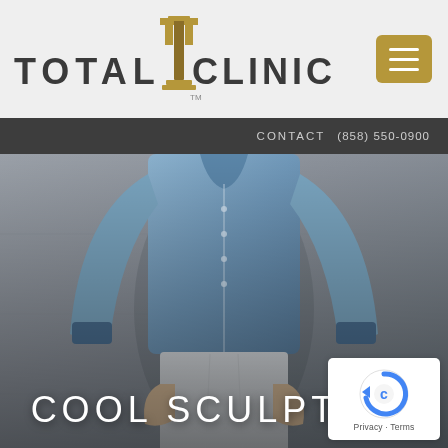TOTAL T CLINIC
CONTACT   (858) 550-0900
[Figure (photo): Man wearing a blue linen long-sleeve shirt with hands in pockets, standing against a grey concrete wall, cropped from chest to upper thighs — hero banner image for CoolSculpting page]
COOL SCULPTING
[Figure (other): Google reCAPTCHA badge with spinning arrow logo and Privacy · Terms links]